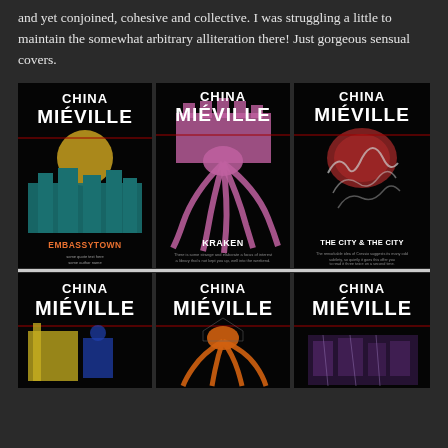and yet conjoined, cohesive and collective. I was struggling a little to maintain the somewhat arbitrary alliteration there! Just gorgeous sensual covers.
[Figure (photo): Six book covers by China Miéville arranged in a 3x2 grid. Top row: Embassytown (yellow/teal artwork), Kraken (pink octopus/castle artwork), The City & The City (smoke/brain artwork). Bottom row: three more China Miéville covers partially visible, showing yellow/blue, orange octopus, and purple/grey artwork respectively. All covers feature bold white uppercase 'CHINA MIÉVILLE' text on black backgrounds.]